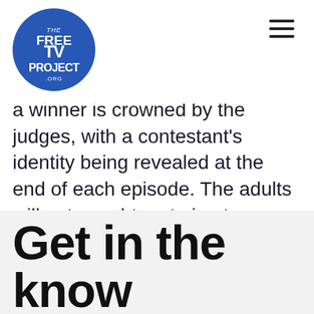[Figure (logo): The Free TV Project logo — blue circle with white text reading 'THE FREE TV PROJECT .ORG']
and [logo]ngs every week until a winner is crowned by the judges, with a contestant's identity being revealed at the end of each episode. The adults will get caught up trying to guess who each singer is and the kids will marvel at the production values and spectacle of it all. New episodes air weekly on Fox in-season.
Get in the know